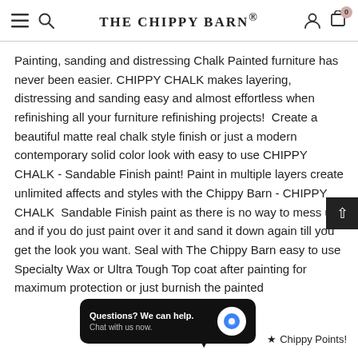THE CHIPPY BARN®
Painting, sanding and distressing Chalk Painted furniture has never been easier. CHIPPY CHALK makes layering, distressing and sanding easy and almost effortless when refinishing all your furniture refinishing projects!  Create a beautiful matte real chalk style finish or just a modern contemporary solid color look with easy to use CHIPPY CHALK - Sandable Finish paint! Paint in multiple layers create unlimited affects and styles with the Chippy Barn - CHIPPY CHALK  Sandable Finish paint as there is no way to mess up and if you do just paint over it and sand it down again till you get the look you want. Seal with The Chippy Barn easy to use Specialty Wax or Ultra Tough Top coat after painting for maximum protection or just burnish the painted
[Figure (screenshot): Chat widget popup: 'Questions? We can help. Chat with us now.' with blue chat bubble icon on dark background]
Chippy Points!